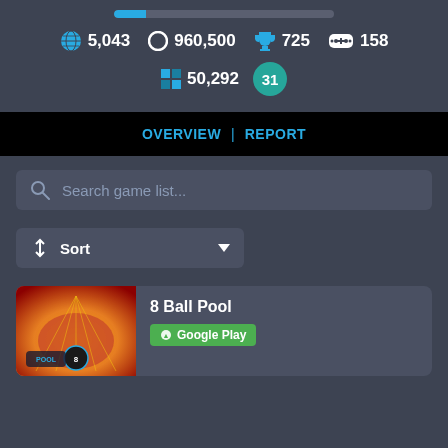[Figure (infographic): Progress bar partially filled in blue on dark background]
🌐 5,043   ○ 960,500   🏆 725   🎮 158
▣ 50,292   31
OVERVIEW | REPORT
Search game list...
↕ Sort
8 Ball Pool
Google Play